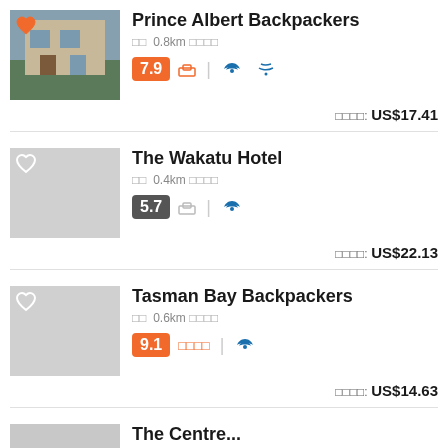[Figure (photo): Photo of Prince Albert Backpackers building exterior]
Prince Albert Backpackers
0.8km (distance)
Rating: 7.9 | amenities: bed icon, wifi, breakfast
Price: US$17.41
[Figure (photo): Gray placeholder image for The Wakatu Hotel with heart icon]
The Wakatu Hotel
0.4km (distance)
Rating: 5.7 | amenities: bed icon, wifi
Price: US$22.13
[Figure (photo): Gray placeholder image for Tasman Bay Backpackers with heart icon]
Tasman Bay Backpackers
0.6km (distance)
Rating: 9.1 | amenities: bed icon, wifi
Price: US$14.63
The Centre... (truncated)